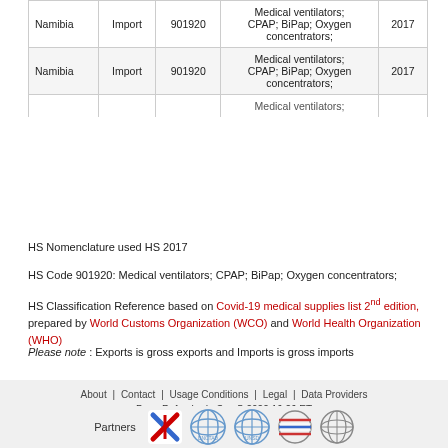| Country | Trade Flow | HS Code | Product Description | Year |
| --- | --- | --- | --- | --- |
| Namibia | Import | 901920 | Medical ventilators;
CPAP; BiPap; Oxygen concentrators; | 2017 |
| Namibia | Import | 901920 | Medical ventilators;
CPAP; BiPap; Oxygen concentrators; | 2017 |
|  |  |  | Medical ventilators; |  |
HS Nomenclature used HS 2017
HS Code 901920: Medical ventilators; CPAP; BiPap; Oxygen concentrators;
HS Classification Reference based on Covid-19 medical supplies list 2nd edition, prepared by World Customs Organization (WCO) and World Health Organization (WHO)
Please note : Exports is gross exports and Imports is gross imports
About   Contact   Usage Conditions   Legal   Data Providers
Page Refreshed : Sep-5-2022 16:26 ET
Partners [ITC] [UNCTAD] [UNSD] [WTO] [WCO]